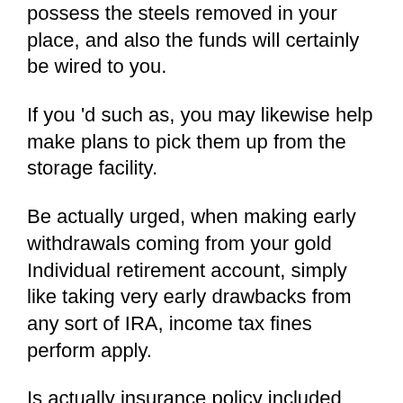possess the steels removed in your place, and also the funds will certainly be wired to you.
If you 'd such as, you may likewise help make plans to pick them up from the storage facility.
Be actually urged, when making early withdrawals coming from your gold Individual retirement account, simply like taking very early drawbacks from any sort of IRA, income tax fines perform apply.
Is actually insurance policy included with my purchase?
When you delegate Augusta to stash your gold and silvers for you, the depository